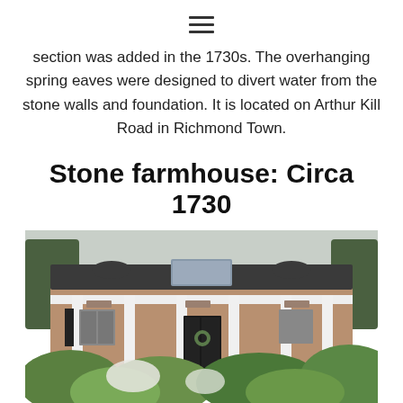≡
section was added in the 1730s. The overhanging spring eaves were designed to divert water from the stone walls and foundation. It is located on Arthur Kill Road in Richmond Town.
Stone farmhouse: Circa 1730
[Figure (photo): Photograph of a stone farmhouse circa 1730 with white columns, a covered porch, a dark roof with dormers, stone walls, and lush green shrubs in the foreground. Located on Arthur Kill Road in Richmond Town.]